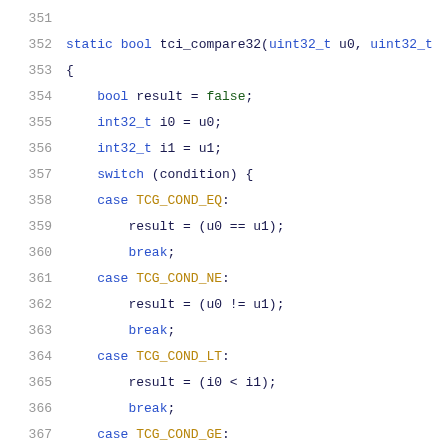Code listing lines 351-371: static bool tci_compare32 function showing switch statement with cases TCG_COND_EQ, TCG_COND_NE, TCG_COND_LT, TCG_COND_GE, TCG_COND_LE